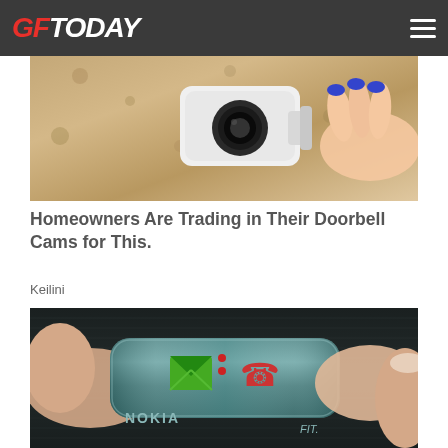GF TODAY
[Figure (photo): Close-up photo of a hand with blue nail polish installing or touching a white security camera mounted on a textured wall]
Homeowners Are Trading in Their Doorbell Cams for This.
Keilini
[Figure (photo): Close-up photo of a Nokia FIT device being held between fingers, showing a green envelope icon and red phone icon on a dark teal/metallic surface]